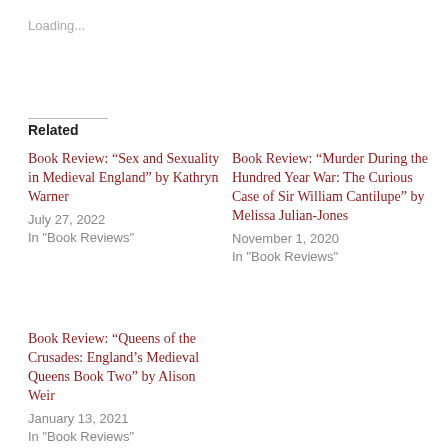Loading...
Related
Book Review: “Sex and Sexuality in Medieval England” by Kathryn Warner
July 27, 2022
In "Book Reviews"
Book Review: “Murder During the Hundred Year War: The Curious Case of Sir William Cantilupe” by Melissa Julian-Jones
November 1, 2020
In "Book Reviews"
Book Review: “Queens of the Crusades: England’s Medieval Queens Book Two” by Alison Weir
January 13, 2021
In "Book Reviews"